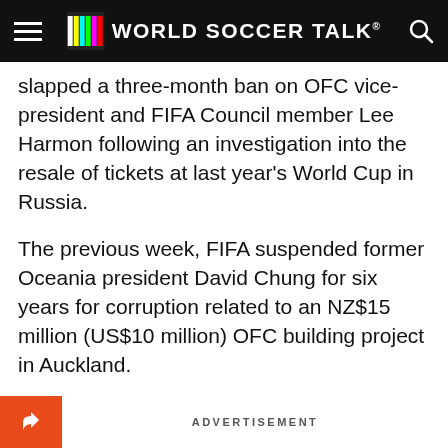WORLD SOCCER TALK
slapped a three-month ban on OFC vice-president and FIFA Council member Lee Harmon following an investigation into the resale of tickets at last year's World Cup in Russia.
The previous week, FIFA suspended former Oceania president David Chung for six years for corruption related to an NZ$15 million (US$10 million) OFC building project in Auckland.
They were the latest in a series of scandals to hit Oceania, which is made up largely of small Pacific island nations and is the smallest and weakest of FIFA's six continental confederations.
ADVERTISEMENT